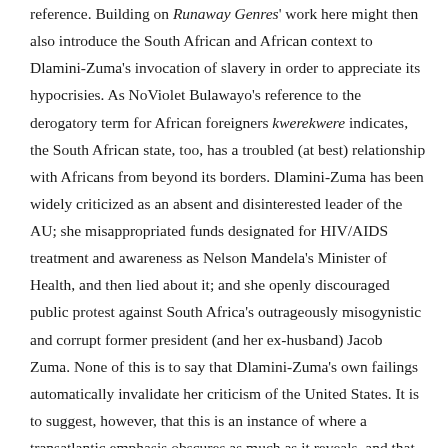reference. Building on Runaway Genres' work here might then also introduce the South African and African context to Dlamini-Zuma's invocation of slavery in order to appreciate its hypocrisies. As NoViolet Bulawayo's reference to the derogatory term for African foreigners kwerekwere indicates, the South African state, too, has a troubled (at best) relationship with Africans from beyond its borders. Dlamini-Zuma has been widely criticized as an absent and disinterested leader of the AU; she misappropriated funds designated for HIV/AIDS treatment and awareness as Nelson Mandela's Minister of Health, and then lied about it; and she openly discouraged public protest against South Africa's outrageously misogynistic and corrupt former president (and her ex-husband) Jacob Zuma. None of this is to say that Dlamini-Zuma's own failings automatically invalidate her criticism of the United States. It is to suggest, however, that this is an instance of where a transatlantic emphasis obscures as much as it reveals, and that this is a common challenge of creating one framework from many.